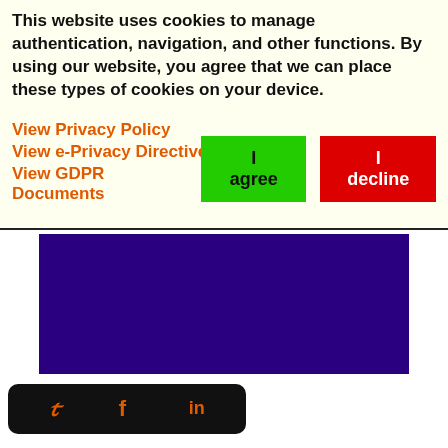This website uses cookies to manage authentication, navigation, and other functions. By using our website, you agree that we can place these types of cookies on your device.
View Privacy Policy
View e-Privacy Directive Documents
View GDPR Documents
[Figure (other): Purple/dark blue rectangular block, likely an advertisement or video placeholder]
[Figure (other): Social media share bar with Twitter, Facebook, and LinkedIn icons on a black rounded background]
Vaping alters the bacteria in the mouth, making e-cigarettes users more prone to inflammation and